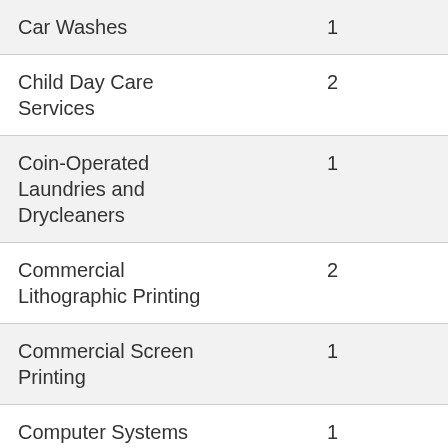| Category | Count |
| --- | --- |
| Car Washes | 1 |
| Child Day Care Services | 2 |
| Coin-Operated Laundries and Drycleaners | 1 |
| Commercial Lithographic Printing | 2 |
| Commercial Screen Printing | 1 |
| Computer Systems Design Services | 1 |
| Consumer Lending | 2 |
| Display Advertising | 1 |
| Document | 1 |